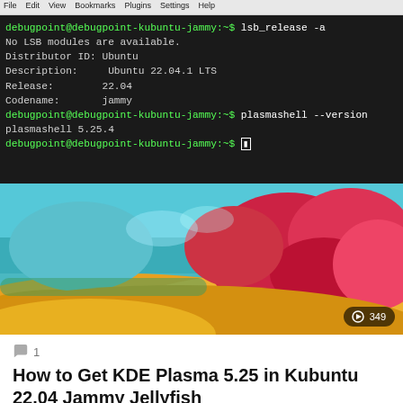[Figure (screenshot): Terminal window showing lsb_release -a and plasmashell --version commands on Kubuntu 22.04 Jammy system]
[Figure (photo): Colorful abstract wallpaper image with yellow, teal, red and pink tones, with a view count badge showing 349]
1
How to Get KDE Plasma 5.25 in Kubuntu 22.04 Jammy Jellyfish